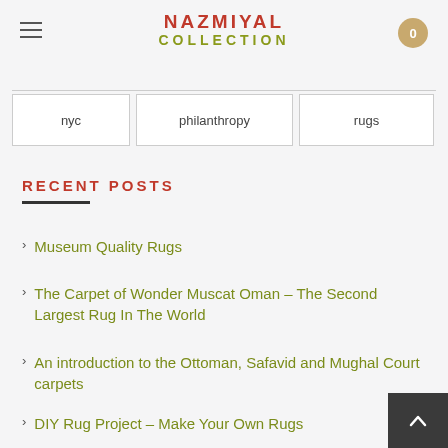Nazmiyal Collection
nyc
philanthropy
rugs
RECENT POSTS
Museum Quality Rugs
The Carpet of Wonder Muscat Oman – The Second Largest Rug In The World
An introduction to the Ottoman, Safavid and Mughal Court carpets
DIY Rug Project – Make Your Own Rugs